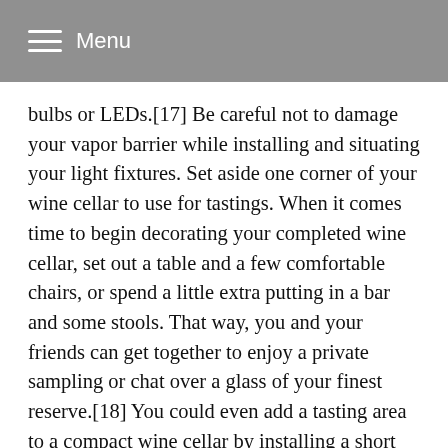Menu
bulbs or LEDs.[17] Be careful not to damage your vapor barrier while installing and situating your light fixtures. Set aside one corner of your wine cellar to use for tastings. When it comes time to begin decorating your completed wine cellar, set out a table and a few comfortable chairs, or spend a little extra putting in a bar and some stools. That way, you and your friends can get together to enjoy a private sampling or chat over a glass of your finest reserve.[18] You could even add a tasting area to a compact wine cellar by installing a short section of countertop with room for a handful of individual racks, similar to a sink in a half-bath.[19] EditTips Building a wine cellar in your home can be a fun project for wine aficionados, but it's not cheap. When it's all said and done, it can cost between $500 and $1,500 per square foot to convert an ordinary room into a fully-functioning wine cellar.[20] If you can't afford a traditional wine cellar, consider investing in a climate-controlled wine cabinet instead. You can find models that hold dozens or hundreds of bottles, and they're often available for $2,500-$10,000, which may be quite a bit less than putting in a wine cellar from scratch. EditThings You'll Need EditConstructing Your Wine Cellar 6mm plastic or foil sheeting (to act as vapor barrier) x wooden boards Fiberglass or